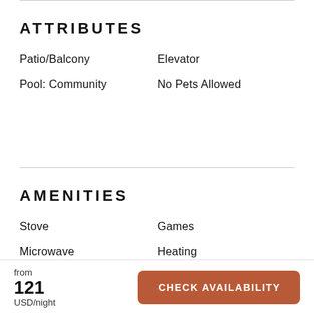ATTRIBUTES
Patio/Balcony
Elevator
Pool: Community
No Pets Allowed
AMENITIES
Stove
Games
Microwave
Heating
from
121
USD/night
CHECK AVAILABILITY